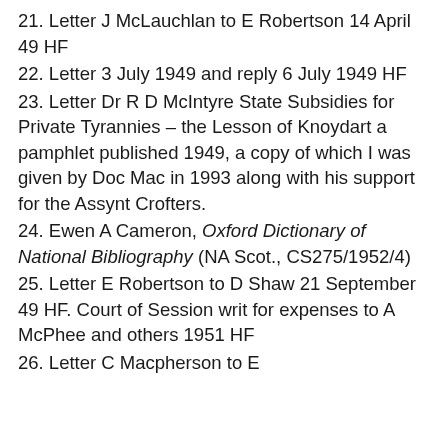21. Letter J McLauchlan to E Robertson 14 April 49 HF
22. Letter 3 July 1949 and reply 6 July 1949 HF
23. Letter Dr R D McIntyre State Subsidies for Private Tyrannies – the Lesson of Knoydart a pamphlet published 1949, a copy of which I was given by Doc Mac in 1993 along with his support for the Assynt Crofters.
24. Ewen A Cameron, Oxford Dictionary of National Bibliography (NA Scot., CS275/1952/4)
25. Letter E Robertson to D Shaw 21 September 49 HF. Court of Session writ for expenses to A McPhee and others 1951 HF
26. Letter C Macpherson to E